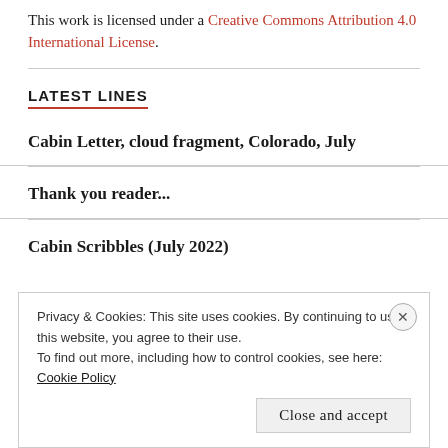This work is licensed under a Creative Commons Attribution 4.0 International License.
LATEST LINES
Cabin Letter, cloud fragment, Colorado, July
Thank you reader...
Cabin Scribbles (July 2022)
Privacy & Cookies: This site uses cookies. By continuing to use this website, you agree to their use.
To find out more, including how to control cookies, see here: Cookie Policy
Close and accept